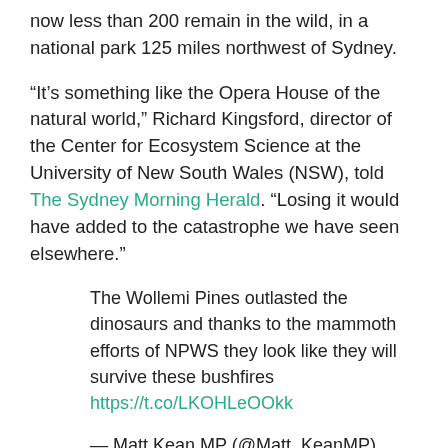now less than 200 remain in the wild, in a national park 125 miles northwest of Sydney.
“It’s something like the Opera House of the natural world,” Richard Kingsford, director of the Center for Ecosystem Science at the University of New South Wales (NSW), told The Sydney Morning Herald. “Losing it would have added to the catastrophe we have seen elsewhere.”
The Wollemi Pines outlasted the dinosaurs and thanks to the mammoth efforts of NPWS they look like they will survive these bushfires https://t.co/LKOHLeOOkk
— Matt Kean MP (@Matt_KeanMP) January 15, 2020